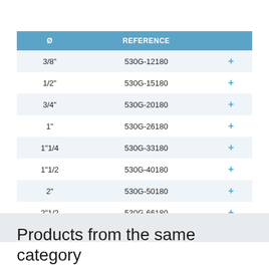| Ø | REFERENCE |  |
| --- | --- | --- |
| 3/8" | 530G-12180 | + |
| 1/2" | 530G-15180 | + |
| 3/4" | 530G-20180 | + |
| 1" | 530G-26180 | + |
| 1"1/4 | 530G-33180 | + |
| 1"1/2 | 530G-40180 | + |
| 2" | 530G-50180 | + |
| 2"1/2 | 530G-66180 | + |
Products from the same category